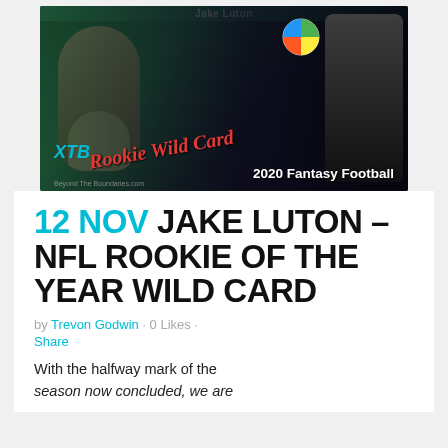[Figure (photo): Jake Luton XTB Rookie Wild Card 2020 Fantasy Football promotional card image showing player headshot and football player in uniform]
12 NOV JAKE LUTON – NFL ROOKIE OF THE YEAR WILD CARD
by Trevon Godwin · 0 Likes · Share
With the halfway mark of the season now concluded, we are